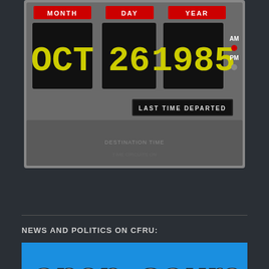[Figure (illustration): Back to the Future DeLorean time machine display showing MONTH: OCT, DAY: 26, YEAR: 1985 with LAST TIME DEPARTED label. Digital display style with yellow/green LED numbers on black background.]
NEWS AND POLITICS ON CFRU:
[Figure (illustration): Open Sources show logo on bright blue background with bold italic white text 'open sources' and illustrations of paper documents and a smartphone.]